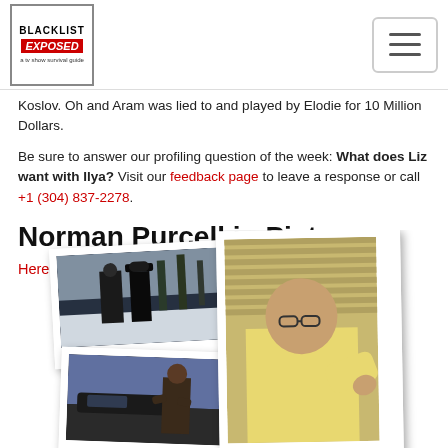Blacklist Exposed logo and navigation menu
Koslov. Oh and Aram was lied to and played by Elodie for 10 Million Dollars.
Be sure to answer our profiling question of the week: What does Liz want with Ilya? Visit our feedback page to leave a response or call +1 (304) 837-2278.
Norman Purcell in Pictures
Here are a just a few of our favorite scenes from this week.
[Figure (photo): Collection of five photos showing scenes from The Blacklist TV show featuring Norman Purcell episode — outdoor winter scene with two figures, bald man in yellow shirt gesturing, man in hat and suit, person by car, and woman portrait]